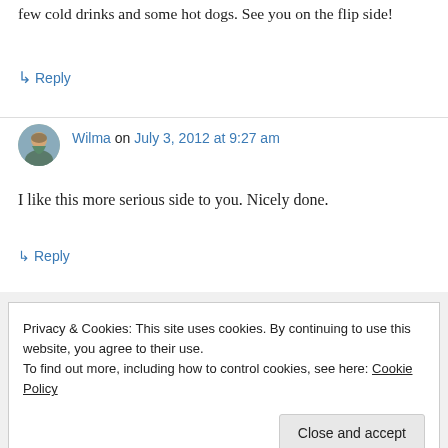few cold drinks and some hot dogs. See you on the flip side!
↳ Reply
Wilma on July 3, 2012 at 9:27 am
I like this more serious side to you. Nicely done.
↳ Reply
Privacy & Cookies: This site uses cookies. By continuing to use this website, you agree to their use.
To find out more, including how to control cookies, see here: Cookie Policy